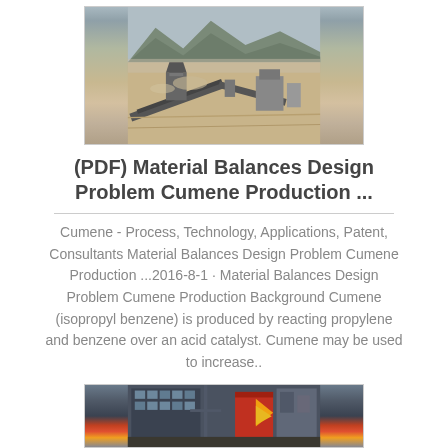[Figure (photo): Outdoor industrial quarry/crushing plant with conveyor belts, heavy machinery, and mountains in the background]
(PDF) Material Balances Design Problem Cumene Production ...
Cumene - Process, Technology, Applications, Patent, Consultants Material Balances Design Problem Cumene Production ...2016-8-1 · Material Balances Design Problem Cumene Production Background Cumene (isopropyl benzene) is produced by reacting propylene and benzene over an acid catalyst. Cumene may be used to increase..
[Figure (photo): Industrial building interior/exterior with heavy equipment, red and yellow machinery visible]